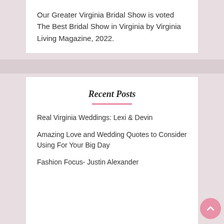Our Greater Virginia Bridal Show is voted The Best Bridal Show in Virginia by Virginia Living Magazine, 2022.
Recent Posts
Real Virginia Weddings: Lexi & Devin
Amazing Love and Wedding Quotes to Consider Using For Your Big Day
Fashion Focus- Justin Alexander